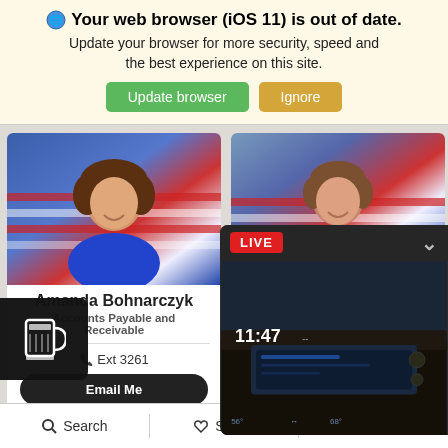🌐 Your web browser (iOS 11) is out of date. Update your browser for more security, speed and the best experience on this site.
Update browser | Ignore
[Figure (screenshot): Photo of Amanda Bohnarczyk in front of an American flag background]
Amanda Bohnarczyk
Accounts Payable and Receivable
Ext 3261
Email Me
[Figure (screenshot): Photo of Kirsten in front of an American flag background]
Kirsten
Title
E
Em
[Figure (screenshot): LIVE overlay showing car interior dashboard with time 11:47]
LIVE
Search | Saved | Share
Search   Saved   Share